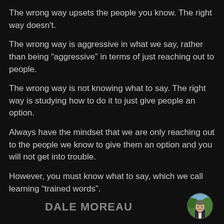The wrong way upsets the people you know. The right way doesn't.
The wrong way is aggressive in what we say, rather than being “aggressive” in terms of just reaching out to people.
The wrong way is not knowing what to say. The right way is studying how to do it to just give people an option.
Always have the mindset that we are only reaching out to the people we know to give them an option and you will not get into trouble.
However, you must know what to say, which we call learning “trained words”.
DALE MOREAU
[Figure (photo): Small circular profile photo of Dale Moreau, a man in a suit outdoors]